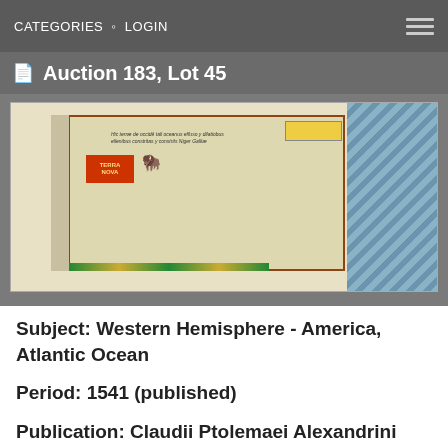CATEGORIES · LOGIN
Auction 183, Lot 45
[Figure (photo): A partial view of a historical hand-colored map showing 'Terra Nova' with illustrations of animals, coastal regions with blue wave patterns, and Latin text. The map appears to be from a 16th century Ptolemaic geography publication.]
Subject: Western Hemisphere - America, Atlantic Ocean
Period: 1541 (published)
Publication: Claudii Ptolemaei Alexandrini Geographicae...
Color: Hand Color